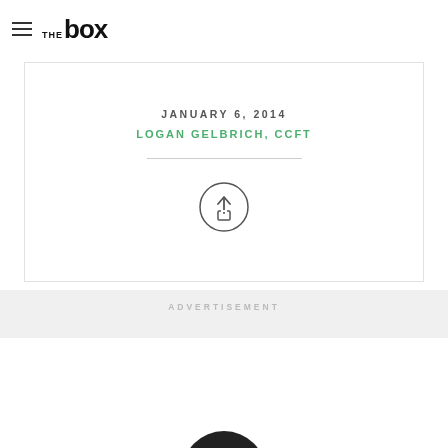THE BOX
On 'catching up' ...
JANUARY 6, 2014
LOGAN GELBRICH, CCFT
[Figure (illustration): Share/upload icon: circle with upward arrow and a box at the bottom, indicating a share button]
ADVERTISEMENT
[Figure (photo): Partial view of a person's head/avatar at the bottom of the page]